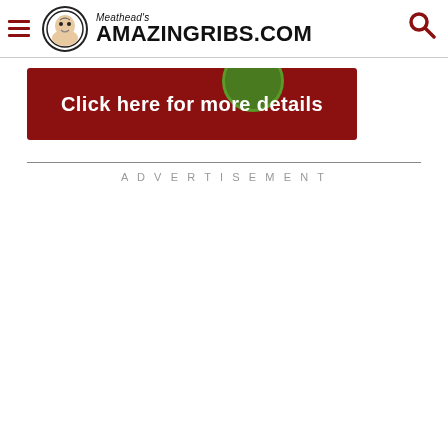Meathead's AmazingRibs.com
[Figure (other): Advertisement banner with dark red background reading 'Click here for more details' with a green circular element partially visible at top]
ADVERTISEMENT